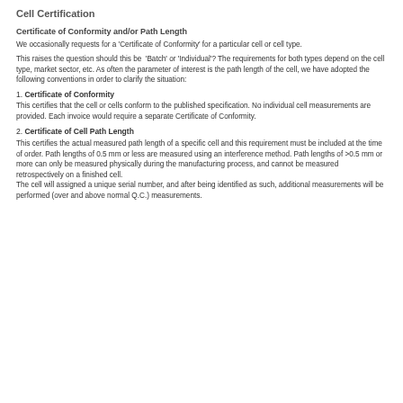Cell Certification
Certificate of Conformity and/or Path Length
We occasionally requests for a 'Certificate of Conformity' for a particular cell or cell type.
This raises the question should this be 'Batch' or 'Individual'? The requirements for both types depend on the cell type, market sector, etc. As often the parameter of interest is the path length of the cell, we have adopted the following conventions in order to clarify the situation:
1. Certificate of Conformity
This certifies that the cell or cells conform to the published specification. No individual cell measurements are provided. Each invoice would require a separate Certificate of Conformity.
2. Certificate of Cell Path Length
This certifies the actual measured path length of a specific cell and this requirement must be included at the time of order. Path lengths of 0.5 mm or less are measured using an interference method. Path lengths of >0.5 mm or more can only be measured physically during the manufacturing process, and cannot be measured retrospectively on a finished cell.
The cell will assigned a unique serial number, and after being identified as such, additional measurements will be performed (over and above normal Q.C.) measurements.